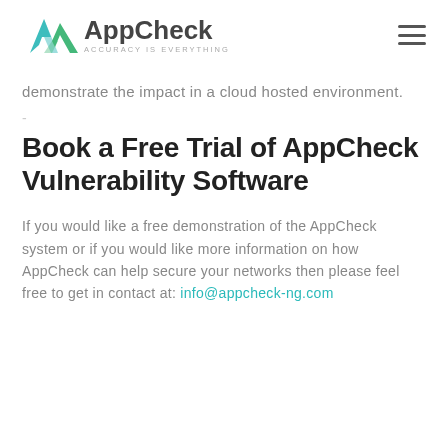AppCheck — ACCURACY IS EVERYTHING
demonstrate the impact in a cloud hosted environment.
-
Book a Free Trial of AppCheck Vulnerability Software
If you would like a free demonstration of the AppCheck system or if you would like more information on how AppCheck can help secure your networks then please feel free to get in contact at: info@appcheck-ng.com